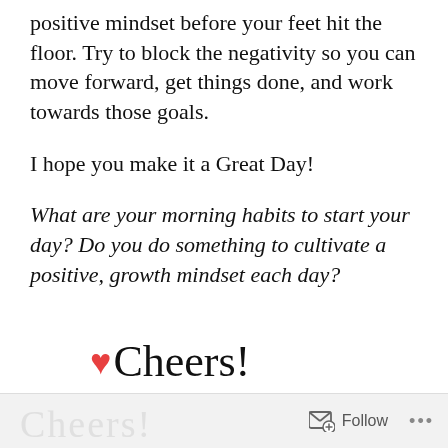positive mindset before your feet hit the floor. Try to block the negativity so you can move forward, get things done, and work towards those goals.
I hope you make it a Great Day!
What are your morning habits to start your day? Do you do something to cultivate a positive, growth mindset each day?
❤ Cheers!
Follow ...